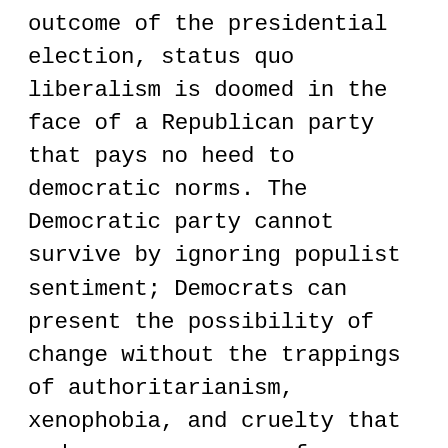outcome of the presidential election, status quo liberalism is doomed in the face of a Republican party that pays no heed to democratic norms. The Democratic party cannot survive by ignoring populist sentiment; Democrats can present the possibility of change without the trappings of authoritarianism, xenophobia, and cruelty that underscore so many of President Trump's policies, but only if they heed the rising tide of progressivism and become a party that truly stands for change and progress, not just preserving the status quo. The future of the party, and perhaps the country,